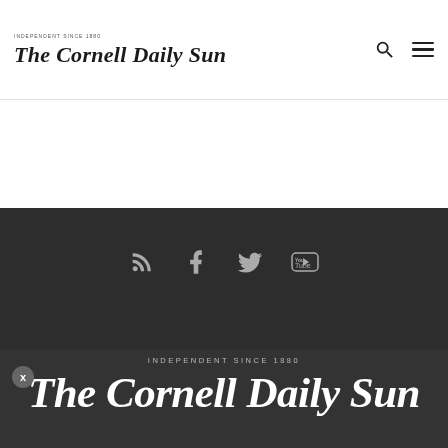The Cornell Daily Sun
[Figure (logo): The Cornell Daily Sun newspaper logo in blackletter/gothic font]
[Figure (infographic): Social media icons: RSS feed, Facebook, Twitter, YouTube on dark background]
INDEPENDENT SINCE 1880
The Cornell Daily Sun